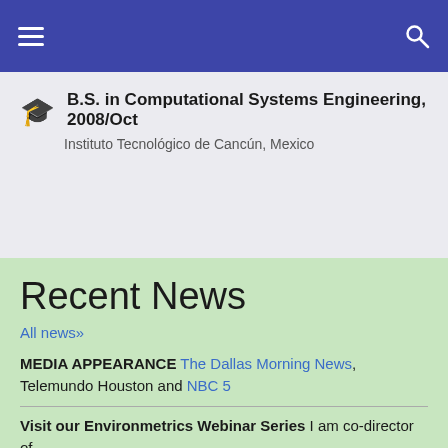Navigation bar with hamburger menu and search icon
B.S. in Computational Systems Engineering, 2008/Oct
Instituto Tecnológico de Cancún, Mexico
Recent News
All news»
MEDIA APPEARANCE The Dallas Morning News, Telemundo Houston and NBC 5
Visit our Environmetrics Webinar Series I am co-director of